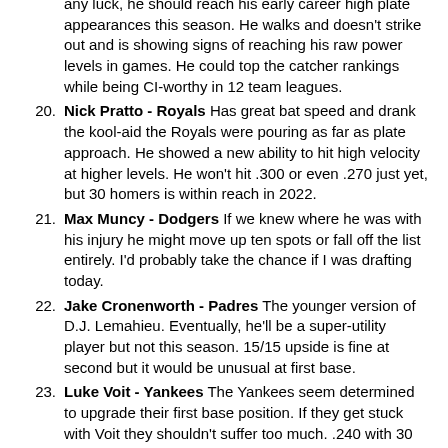any luck, he should reach his early career high plate appearances this season. He walks and doesn't strike out and is showing signs of reaching his raw power levels in games. He could top the catcher rankings while being CI-worthy in 12 team leagues.
20. Nick Pratto - Royals Has great bat speed and drank the kool-aid the Royals were pouring as far as plate approach. He showed a new ability to hit high velocity at higher levels. He won't hit .300 or even .270 just yet, but 30 homers is within reach in 2022.
21. Max Muncy - Dodgers If we knew where he was with his injury he might move up ten spots or fall off the list entirely. I'd probably take the chance if I was drafting today.
22. Jake Cronenworth - Padres The younger version of D.J. Lemahieu. Eventually, he'll be a super-utility player but not this season. 15/15 upside is fine at second but it would be unusual at first base.
23. Luke Voit - Yankees The Yankees seem determined to upgrade their first base position. If they get stuck with Voit they shouldn't suffer too much. .240 with 30 homers in a full season is reasonable if a bit